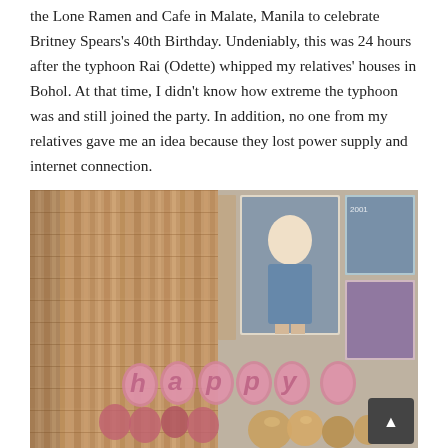the Lone Ramen and Cafe in Malate, Manila to celebrate Britney Spears's 40th Birthday. Undeniably, this was 24 hours after the typhoon Rai (Odette) whipped my relatives' houses in Bohol. At that time, I didn't know how extreme the typhoon was and still joined the party. In addition, no one from my relatives gave me an idea because they lost power supply and internet connection.
[Figure (photo): A photo taken inside a wooden-paneled venue (Lone Ramen and Cafe). Pink balloon letters spelling 'happy' are in the foreground. Behind them is a collage of Britney Spears photos and posters mounted on a slatted wooden wall. Rose gold/pink balloons are visible.]